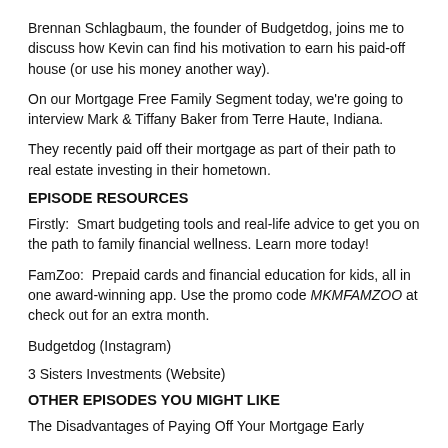Brennan Schlagbaum, the founder of Budgetdog, joins me to discuss how Kevin can find his motivation to earn his paid-off house (or use his money another way).
On our Mortgage Free Family Segment today, we're going to interview Mark & Tiffany Baker from Terre Haute, Indiana.
They recently paid off their mortgage as part of their path to real estate investing in their hometown.
EPISODE RESOURCES
Firstly:  Smart budgeting tools and real-life advice to get you on the path to family financial wellness. Learn more today!
FamZoo:  Prepaid cards and financial education for kids, all in one award-winning app. Use the promo code MKMFAMZOO at check out for an extra month.
Budgetdog (Instagram)
3 Sisters Investments (Website)
OTHER EPISODES YOU MIGHT LIKE
The Disadvantages of Paying Off Your Mortgage Early
Pay Off My 30-Year Mortgage Early or Invest?